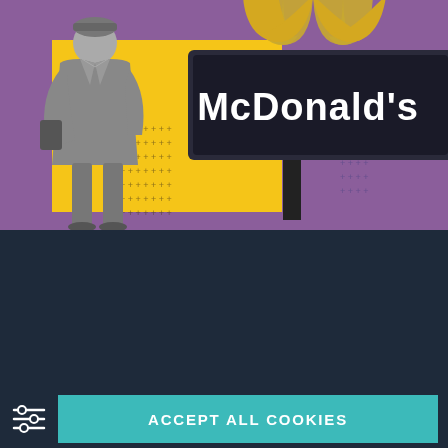[Figure (photo): McDonald's advertisement image with a purple background. Shows a grayscale person wearing a coat and beanie hat standing near a yellow rectangle with cross/plus dot pattern, next to a large McDonald's outdoor sign with golden arches logo.]
Our website uses cookies and thereby collects information about your visit to improve our website (by analyzing), show you Social Media content and relevant advertisements. Please see our cookies page for furher details or agree by clicking the 'Accept' button.
ACCEPT ALL COOKIES